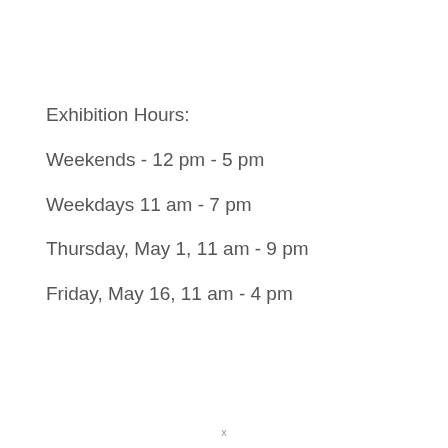Exhibition Hours:
Weekends - 12 pm - 5 pm
Weekdays 11 am - 7 pm
Thursday, May 1, 11 am - 9 pm
Friday, May 16, 11 am - 4 pm